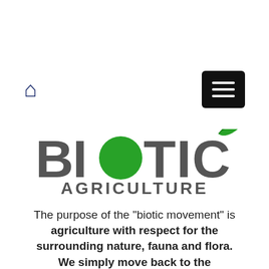Home icon and hamburger menu
[Figure (logo): BIOTIC AGRICULTURE logo with green circle replacing the O in BIOTIC and a green leaf on the C]
The purpose of the "biotic movement" is agriculture with respect for the surrounding nature, fauna and flora. We simply move back to the